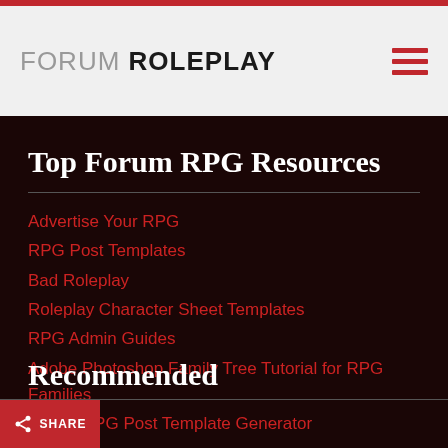FORUM ROLEPLAY
Top Forum RPG Resources
Advertise Your RPG
RPG Post Templates
Bad Roleplay
Roleplay Character Sheet Templates
RPG Admin Guides
Adobe Photoshop Family Tree Tutorial for RPG Families
Forum RPG Post Template Generator
Recommended